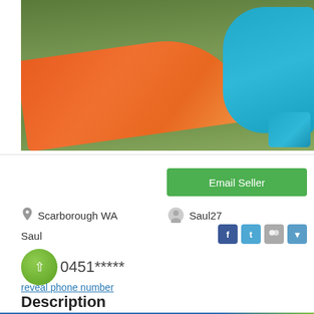[Figure (photo): Kite surfing equipment (orange and teal kite) laid out on green grass]
Email Seller
Scarborough WA
Saul27
Saul
0451*****
reveal phone number
Description
Due to upgrading my quiver I am selling my 2018 Airush Union v3 6m and bar & lines, pump, a 2013 airush lithium 8m, 2018 mystic majestic harness size medium and a